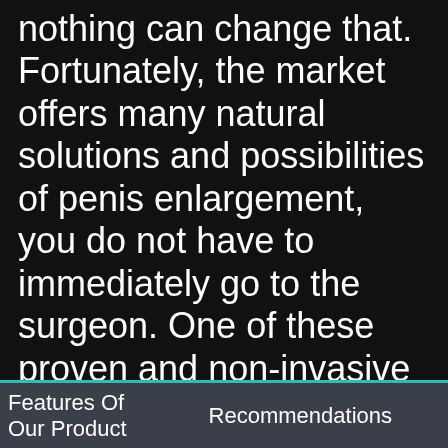nothing can change that. Fortunately, the market offers many natural solutions and possibilities of penis enlargement, you do not have to immediately go to the surgeon. One of these proven and non-invasive measures is Member XXL. Member XXL is an ideal product for all men who have low self-esteem and are afraid to go to bed with their partner because they are afraid that
Features Of Our Product    Recommendations